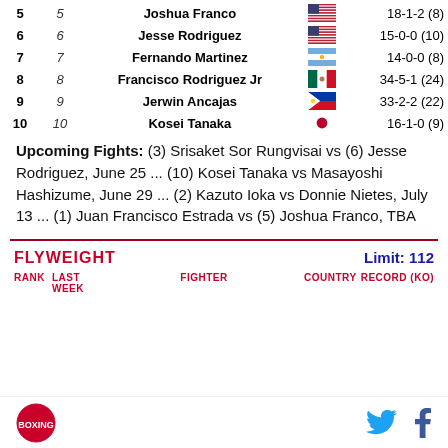| RANK | LAST WEEK | FIGHTER | COUNTRY | RECORD (KO) |
| --- | --- | --- | --- | --- |
| 5 | 5 | Joshua Franco | 🇺🇸 | 18-1-2 (8) |
| 6 | 6 | Jesse Rodriguez | 🇺🇸 | 15-0-0 (10) |
| 7 | 7 | Fernando Martinez | 🇦🇷 | 14-0-0 (8) |
| 8 | 8 | Francisco Rodriguez Jr | 🇲🇽 | 34-5-1 (24) |
| 9 | 9 | Jerwin Ancajas | 🇵🇭 | 33-2-2 (22) |
| 10 | 10 | Kosei Tanaka | 🇯🇵 | 16-1-0 (9) |
Upcoming Fights: (3) Srisaket Sor Rungvisai vs (6) Jesse Rodriguez, June 25 ... (10) Kosei Tanaka vs Masayoshi Hashizume, June 29 ... (2) Kazuto Ioka vs Donnie Nietes, July 13 ... (1) Juan Francisco Estrada vs (5) Joshua Franco, TBA
FLYWEIGHT   Limit: 112